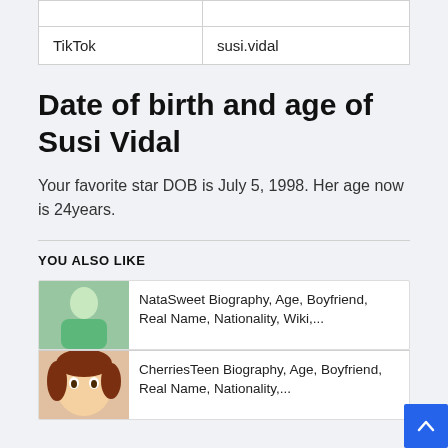|  |  |
| TikTok | susi.vidal |
Date of birth and age of Susi Vidal
Your favorite star DOB is July 5, 1998. Her age now is 24years.
YOU ALSO LIKE
NataSweet Biography, Age, Boyfriend, Real Name, Nationality, Wiki,...
CherriesTeen Biography, Age, Boyfriend, Real Name, Nationality,...